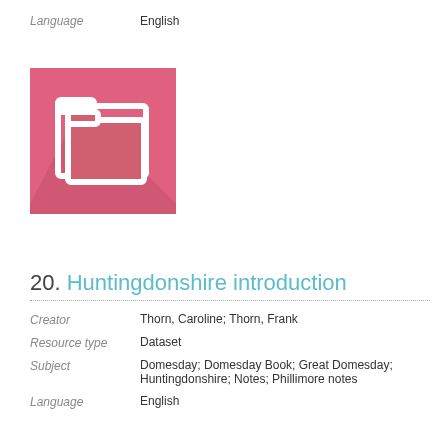Language    English
[Figure (illustration): Pink folder icon with shadow, white folder outline and inner folder shape on pink/rose background square]
20. Huntingdonshire introduction
Creator    Thorn, Caroline; Thorn, Frank
Resource type    Dataset
Subject    Domesday; Domesday Book; Great Domesday; Huntingdonshire; Notes; Phillimore notes
Language    English